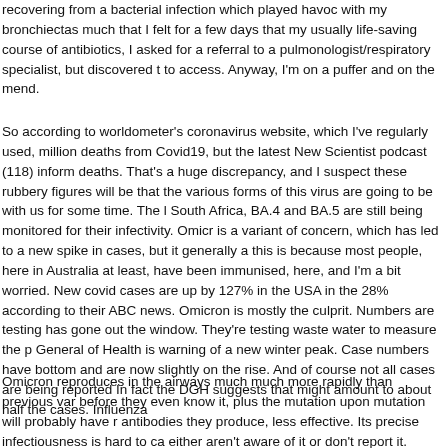recovering from a bacterial infection which played havoc with my bronchiectas much that I felt for a few days that my usually life-saving course of antibiotics, I asked for a referral to a pulmonologist/respiratory specialist, but discovered t to access. Anyway, I'm on a puffer and on the mend.
So according to worldometer's coronavirus website, which I've regularly used, million deaths from Covid19, but the latest New Scientist podcast (118) inform deaths. That's a huge discrepancy, and I suspect these rubbery figures will be that the various forms of this virus are going to be with us for some time. The l South Africa, BA.4 and BA.5 are still being monitored for their infectivity. Omicr is a variant of concern, which has led to a new spike in cases, but it generally a this is because most people, here in Australia at least, have been immunised, here, and I'm a bit worried. New covid cases are up by 127% in the USA in the 28% according to their ABC news. Omicron is mostly the culprit. Numbers are testing has gone out the window. They're testing waste water to measure the p General of Health is warning of a new winter peak. Case numbers have bottom and are now slightly on the rise. And of course not all cases are being reported In fact the DGH suggests that might amount to about half the cases. Influenza
Omicron reproduces in the airways much much more rapidly than previous var before they even know it, plus the mutation upon mutation will probably have r antibodies they produce, less effective. Its precise infectiousness is hard to ca either aren't aware of it or don't report it. Animal studies of Omicron are showin previous variants, which is a relief to me at least, and probably a relief to most